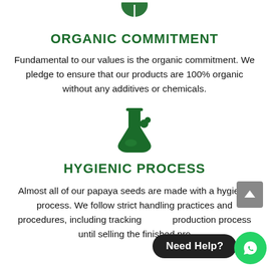[Figure (illustration): Green leaf/plant icon (partially visible at top)]
ORGANIC COMMITMENT
Fundamental to our values is the organic commitment. We pledge to ensure that our products are 100% organic without any additives or chemicals.
[Figure (illustration): Green chemistry flask / beaker icon]
HYGIENIC PROCESS
Almost all of our papaya seeds are made with a hygienic process. We follow strict handling practices and procedures, including tracking [obscured] production process until selling the finished pro[duct].